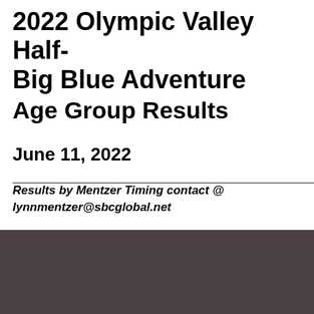2022 Olympic Valley Half-Big Blue Adventure
Age Group Results
June 11, 2022
Results by Mentzer Timing contact @ lynnmentzer@sbcglobal.net
| Place | Name | City |
| --- | --- | --- |